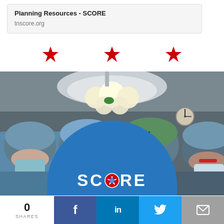Planning Resources - SCORE
tnscore.org
[Figure (illustration): Three red star symbols arranged horizontally]
[Figure (photo): Four surgical team members in blue scrubs, surgical caps, and face masks in an operating room with overhead surgical lights. A blue semicircle overlay at the bottom shows the SCORE logo.]
0 SHARES
f  in  (twitter icon)  (email icon)